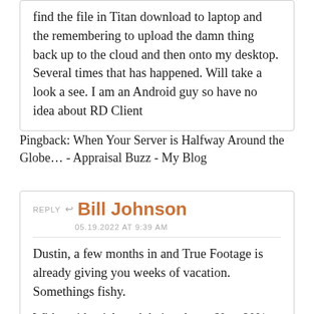find the file in Titan download to laptop and the remembering to upload the damn thing back up to the cloud and then onto my desktop. Several times that has happened. Will take a look a see. I am an Android guy so have no idea about RD Client
Pingback: When Your Server is Halfway Around the Globe… - Appraisal Buzz - My Blog
REPLY ↩ Bill Johnson
05.19.2022 AT 9:39 AM
Dustin, a few months in and True Footage is already giving you weeks of vacation. Somethings fishy.
With residential work being down 60 to 80%,